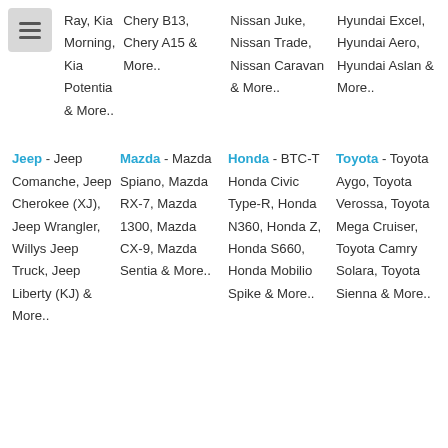Ray, Kia Morning, Kia Potentia & More..
Chery B13, Chery A15 & More..
Nissan Juke, Nissan Trade, Nissan Caravan & More..
Hyundai Excel, Hyundai Aero, Hyundai Aslan & More..
Jeep - Jeep Comanche, Jeep Cherokee (XJ), Jeep Wrangler, Willys Jeep Truck, Jeep Liberty (KJ) & More..
Mazda - Mazda Spiano, Mazda RX-7, Mazda 1300, Mazda CX-9, Mazda Sentia & More..
Honda - BTC-T Honda Civic Type-R, Honda N360, Honda Z, Honda S660, Honda Mobilio Spike & More..
Toyota - Toyota Aygo, Toyota Verossa, Toyota Mega Cruiser, Toyota Camry Solara, Toyota Sienna & More..